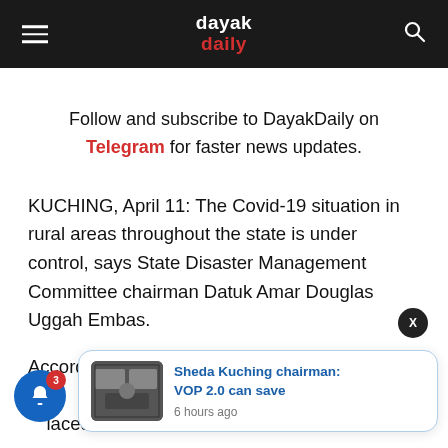dayak daily
Follow and subscribe to DayakDaily on Telegram for faster news updates.
KUCHING, April 11: The Covid-19 situation in rural areas throughout the state is under control, says State Disaster Management Committee chairman Datuk Amar Douglas Uggah Embas.
According to Ug...the ar so far, ...laced under lock down...
[Figure (screenshot): Popup notification card showing article thumbnail and headline 'Sheda Kuching chairman: VOP 2.0 can save' published 6 hours ago, with a blue notification bell icon with badge showing 3 and a close X button]